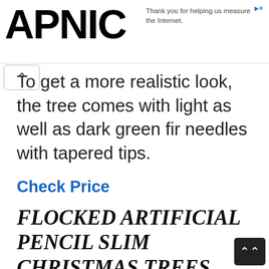APNIC | Thank you for helping us measure the Internet.
To get a more realistic look, the tree comes with light as well as dark green fir needles with tapered tips.
Check Price
FLOCKED ARTIFICIAL PENCIL SLIM CHRISTMAS TREES
If you love the idea of freshly fallen snow on your Christmas tree, then